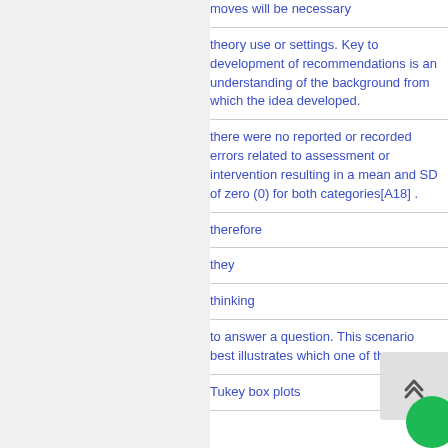moves will be necessary
theory use or settings. Key to development of recommendations is an understanding of the background from which the idea developed.
there were no reported or recorded errors related to assessment or intervention resulting in a mean and SD of zero (0) for both categories[A18] .
therefore
they
thinking
to answer a question. This scenario best illustrates which one of the
Tukey box plots